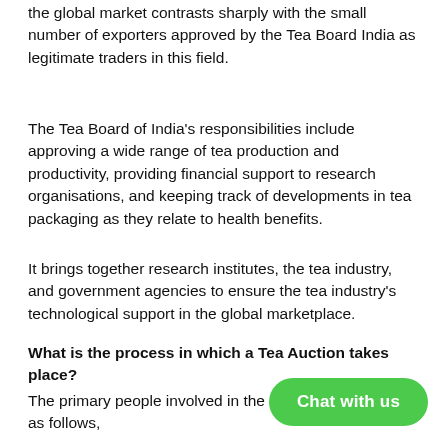the global market contrasts sharply with the small number of exporters approved by the Tea Board India as legitimate traders in this field.
The Tea Board of India's responsibilities include approving a wide range of tea production and productivity, providing financial support to research organisations, and keeping track of developments in tea packaging as they relate to health benefits.
It brings together research institutes, the tea industry, and government agencies to ensure the tea industry's technological support in the global marketplace.
What is the process in which a Tea Auction takes place?
The primary people involved in the auction process are as follows,
[Figure (other): Green rounded rectangle chat button with white text 'Chat with us']